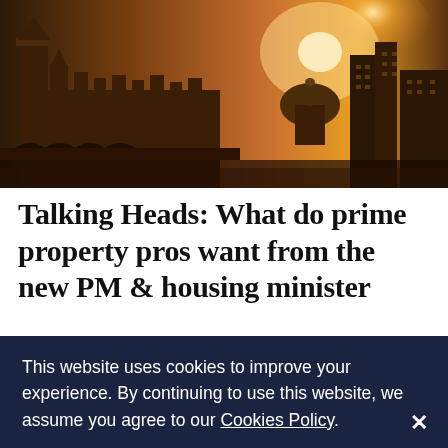[Figure (photo): Aerial/street-level view of the Houses of Parliament and surrounding London skyline bathed in warm golden sunset light, with Big Ben and a large dome visible.]
Talking Heads: What do prime property pros want from the new PM & housing minister
This website uses cookies to improve your experience. By continuing to use this website, we assume you agree to our Cookies Policy.